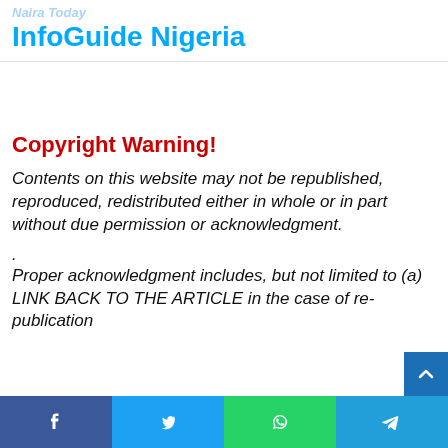Naira Today
InfoGuide Nigeria
Copyright Warning!
Contents on this website may not be republished, reproduced, redistributed either in whole or in part without due permission or acknowledgment.
.
Proper acknowledgment includes, but not limited to (a) LINK BACK TO THE ARTICLE in the case of re-publication